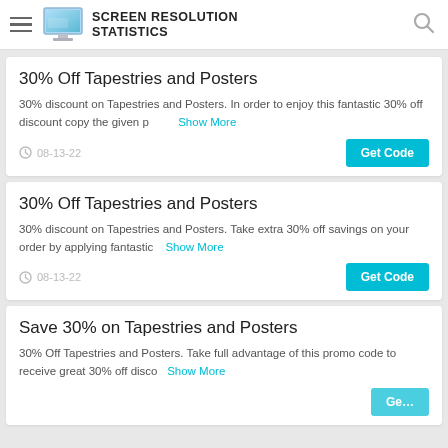SCREEN RESOLUTION STATISTICS
30% Off Tapestries and Posters
30% discount on Tapestries and Posters. In order to enjoy this fantastic 30% off discount copy the given p Show More
08-13-22
30% Off Tapestries and Posters
30% discount on Tapestries and Posters. Take extra 30% off savings on your order by applying fantastic Show More
08-13-22
Save 30% on Tapestries and Posters
30% Off Tapestries and Posters. Take full advantage of this promo code to receive great 30% off disco Show More